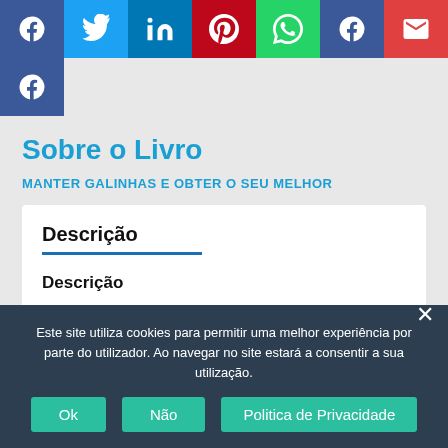[Figure (screenshot): Row of social media share buttons: Facebook (blue), Twitter (light blue), LinkedIn (dark blue), Pinterest (red), WhatsApp (green), Facebook (blue), Email (red)]
[Figure (screenshot): Single Facebook social share button (blue)]
Sobre o Livro
MANTER GALINHAS E OBTER O SEU MELHOR
Descrição
Descrição
Este site utiliza cookies para permitir uma melhor experiência por parte do utilizador. Ao navegar no site estará a consentir a sua utilização.
Ok   Não   Politica de Privacidade